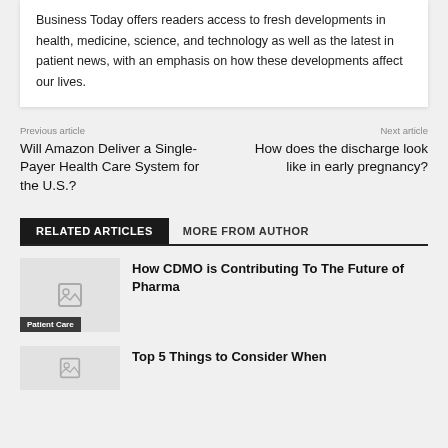Business Today offers readers access to fresh developments in health, medicine, science, and technology as well as the latest in patient news, with an emphasis on how these developments affect our lives.
Previous article
Will Amazon Deliver a Single-Payer Health Care System for the U.S.?
Next article
How does the discharge look like in early pregnancy?
RELATED ARTICLES
MORE FROM AUTHOR
How CDMO is Contributing To The Future of Pharma
Patient Care
Top 5 Things to Consider When